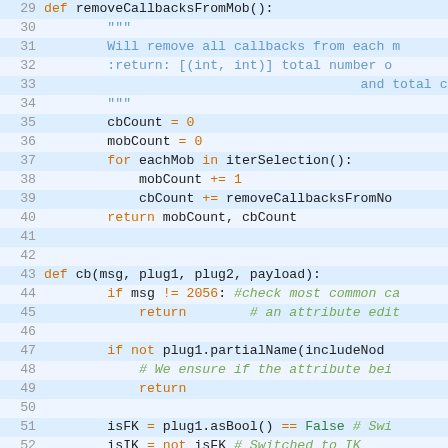[Figure (screenshot): Python source code editor showing lines 29-57 of a script. Code uses orange keywords, green strings/comments, and blue docstring text on alternating light blue striped background with line numbers.]